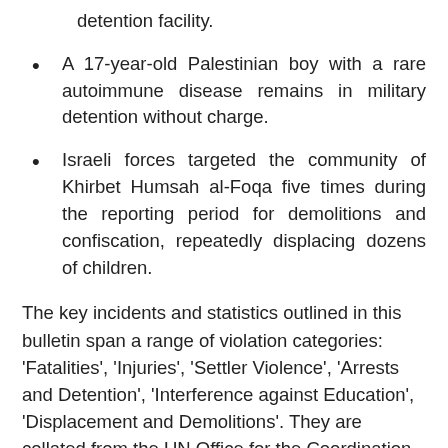detention facility.
A 17-year-old Palestinian boy with a rare autoimmune disease remains in military detention without charge.
Israeli forces targeted the community of Khirbet Humsah al-Foqa five times during the reporting period for demolitions and confiscation, repeatedly displacing dozens of children.
The key incidents and statistics outlined in this bulletin span a range of violation categories: 'Fatalities', 'Injuries', 'Settler Violence', 'Arrests and Detention', 'Interference against Education', 'Displacement and Demolitions'. They are collated from the UN Office for the Coordination of Humanitarian Affairs (UN OCHA) and local human rights organisations: Defence for Children